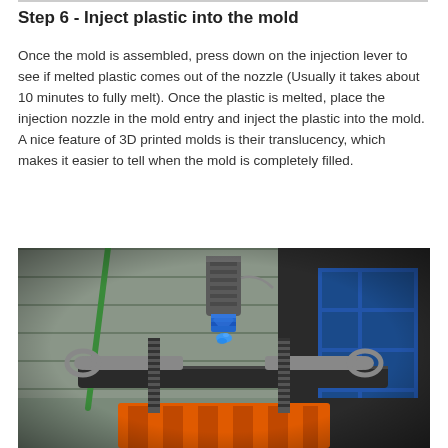Step 6 - Inject plastic into the mold
Once the mold is assembled, press down on the injection lever to see if melted plastic comes out of the nozzle (Usually it takes about 10 minutes to fully melt). Once the plastic is melted, place the injection nozzle in the mold entry and inject the plastic into the mold. A nice feature of 3D printed molds is their translucency, which makes it easier to tell when the mold is completely filled.
[Figure (photo): Close-up photograph of a plastic injection molding setup showing a metal nozzle assembly with a blue bolt/nut fitting, two wrenches gripping threaded rods on either side of a bright orange 3D printed mold. Workshop background visible with tools and a blue metal shelving unit.]